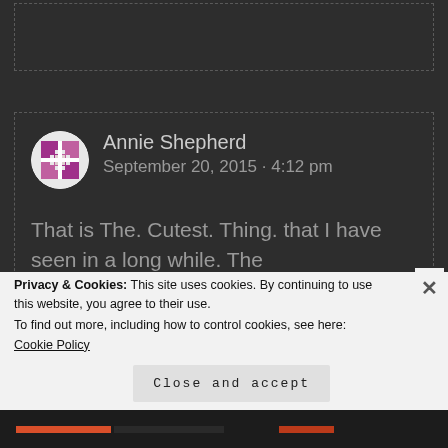[Figure (screenshot): Top dotted border box area (partial UI element, top of page)]
Annie Shepherd
September 20, 2015 · 4:12 pm
That is The. Cutest. Thing. that I have seen in a long while. The “Awwwwwwwwww” is still echoing around the house.
Privacy & Cookies: This site uses cookies. By continuing to use this website, you agree to their use.
To find out more, including how to control cookies, see here: Cookie Policy
Close and accept